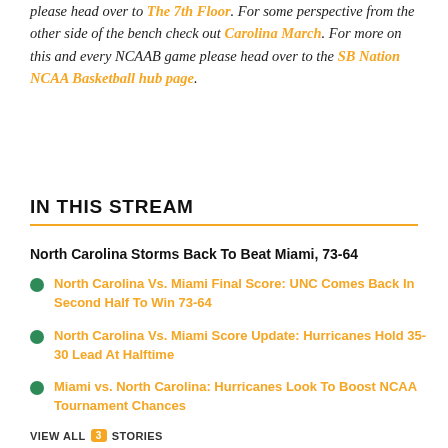please head over to The 7th Floor. For some perspective from the other side of the bench check out Carolina March. For more on this and every NCAAB game please head over to the SB Nation NCAA Basketball hub page.
IN THIS STREAM
North Carolina Storms Back To Beat Miami, 73-64
North Carolina Vs. Miami Final Score: UNC Comes Back In Second Half To Win 73-64
North Carolina Vs. Miami Score Update: Hurricanes Hold 35-30 Lead At Halftime
Miami vs. North Carolina: Hurricanes Look To Boost NCAA Tournament Chances
VIEW ALL 3 STORIES